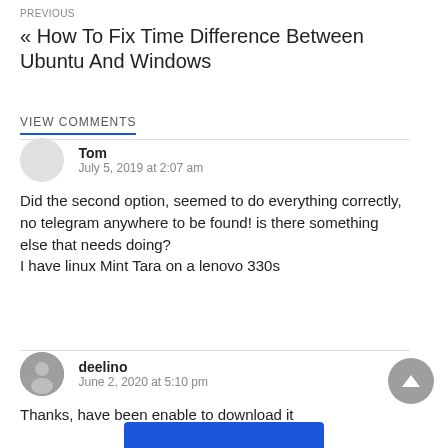PREVIOUS
« How To Fix Time Difference Between Ubuntu And Windows
VIEW COMMENTS
Tom
July 5, 2019 at 2:07 am
Did the second option, seemed to do everything correctly, no telegram anywhere to be found! is there something else that needs doing?
I have linux Mint Tara on a lenovo 330s
deelino
June 2, 2020 at 5:10 pm
Thanks, have been enable to download it